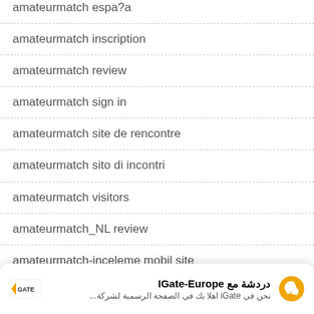amateurmatch espa?a
amateurmatch inscription
amateurmatch review
amateurmatch sign in
amateurmatch site de rencontre
amateurmatch sito di incontri
amateurmatch visitors
amateurmatch_NL review
amateurmatch-inceleme mobil site
[Figure (screenshot): Chat notification bar from IGate-Europe Facebook page. Shows IGate logo on left, Arabic text 'دردشة مع IGate-Europe' (bold title) and subtitle 'نحن في iGate اهلا بك في الصفحة الرسمية لشركة...', with a Facebook Messenger icon on the right.]